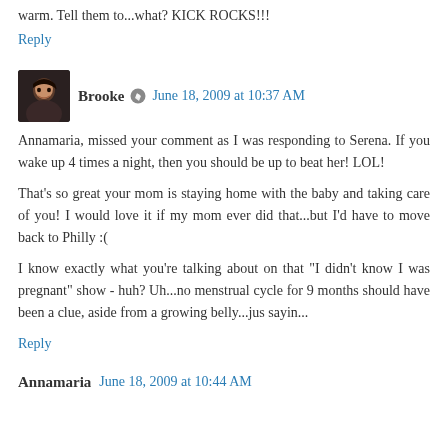warm. Tell them to...what? KICK ROCKS!!!
Reply
Brooke ⊙ June 18, 2009 at 10:37 AM
Annamaria, missed your comment as I was responding to Serena. If you wake up 4 times a night, then you should be up to beat her! LOL!
That's so great your mom is staying home with the baby and taking care of you! I would love it if my mom ever did that...but I'd have to move back to Philly :(
I know exactly what you're talking about on that "I didn't know I was pregnant" show - huh? Uh...no menstrual cycle for 9 months should have been a clue, aside from a growing belly...jus sayin...
Reply
Annamaria June 18, 2009 at 10:44 AM